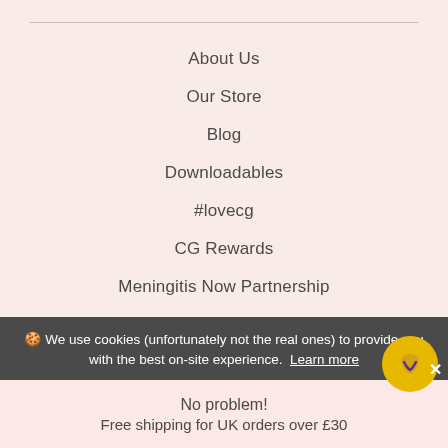About Us
Our Store
Blog
Downloadables
#lovecg
CG Rewards
Meningitis Now Partnership
Our Environmental Pledge
[Figure (other): Payment method icons row: Amex, Apple Pay, Diners, Discover, Google Pay, Maestro, Mastercard, PayPal]
🍪 We use cookies (unfortunately not the real ones) to provide you with the best on-site experience. Learn more
No problem! Free shipping for UK orders over £30